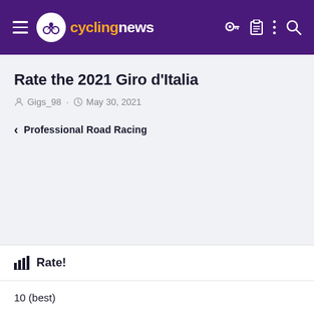cyclingnews
Rate the 2021 Giro d'Italia
Gigs_98 · May 30, 2021
< Professional Road Racing
Rate!
10 (best)